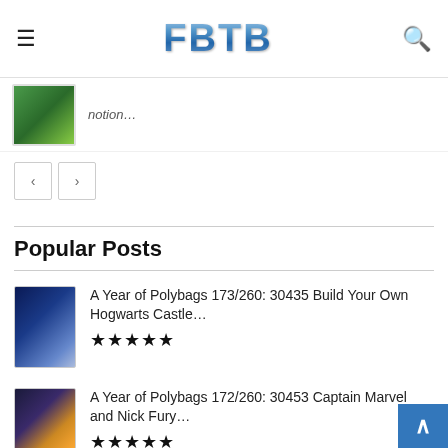FBTB
[Figure (photo): Partially visible LEGO set box with green background, cropped at top]
notion...
< >  (pagination buttons)
Popular Posts
[Figure (photo): LEGO Harry Potter 30435 Build Your Own Hogwarts Castle polybag box, blue/castle scene]
A Year of Polybags 173/260: 30435 Build Your Own Hogwarts Castle...
★★★★★
[Figure (photo): LEGO Marvel Captain Marvel and Nick Fury polybag box, dark background]
A Year of Polybags 172/260: 30453 Captain Marvel and Nick Fury...
★★★★★